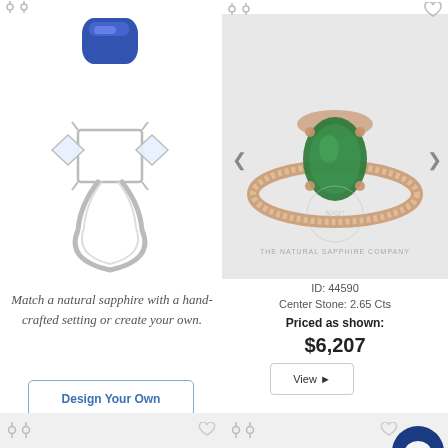[Figure (photo): Exploded view of a silver ring setting with a blue sapphire gemstone floating above and white side diamonds]
Match a natural sapphire with a hand-crafted setting or create your own.
Design Your Own
[Figure (photo): Rose gold ring with a green oval sapphire center stone surrounded by a diamond pavé band, watermarked with THE NATURAL SAPPHIRE COMPANY]
ID: 44590
Center Stone: 2.65 Cts
Priced as shown:
$6,207
View ▶
[Figure (photo): Partial product card bottom left, light gray background]
[Figure (photo): Partial product card bottom right with chat bubble overlay]